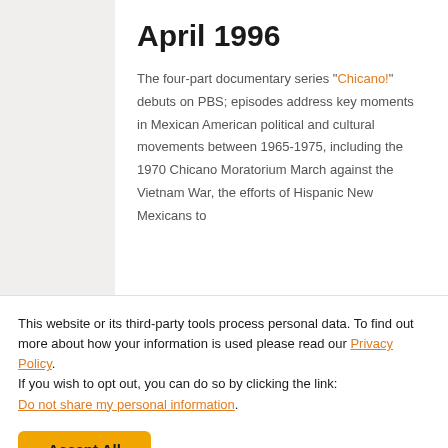April 1996
The four-part documentary series “Chicano!” debuts on PBS; episodes address key moments in Mexican American political and cultural movements between 1965-1975, including the 1970 Chicano Moratorium March against the Vietnam War, the efforts of Hispanic New Mexicans to
This website or its third-party tools process personal data. To find out more about how your information is used please read our Privacy Policy.
If you wish to opt out, you can do so by clicking the link: Do not share my personal information.
Accept All